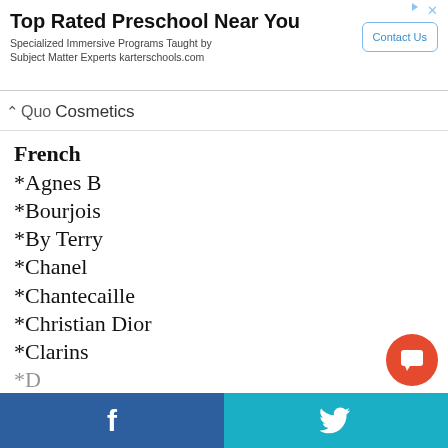[Figure (other): Advertisement banner for Top Rated Preschool Near You – Specialized Immersive Programs Taught by Subject Matter Experts karterschools.com, with a Contact Us button]
Quo Cosmetics
French
*Agnes B
*Bourjois
*By Terry
*Chanel
*Chantecaille
*Christian Dior
*Clarins
*D... (cut off)
f  (Facebook)  |  Twitter bird icon